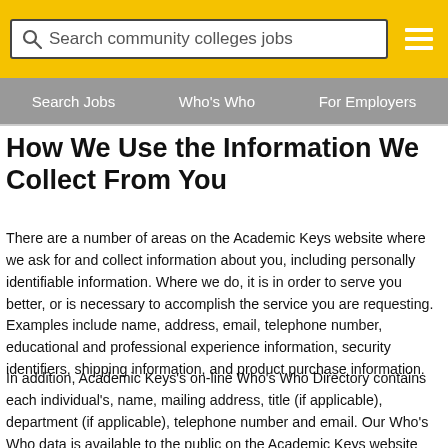Search community colleges jobs
Search Jobs | Who's Who | For Employers
How We Use the Information We Collect From You
There are a number of areas on the Academic Keys website where we ask for and collect information about you, including personally identifiable information. Where we do, it is in order to serve you better, or is necessary to accomplish the service you are requesting. Examples include name, address, email, telephone number, educational and professional experience information, security identifiers, shipping information, and product purchase information.
In addition, Academic Keys's on-line Who's Who Directory contains each individual's, name, mailing address, title (if applicable), department (if applicable), telephone number and email. Our Who's Who data is available to the public on the Academic Keys website and may be viewed by anyone with access to the internet. You may instruct us to not share...